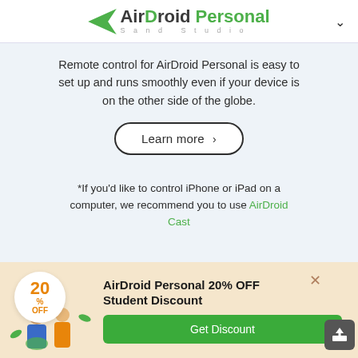AirDroid Personal — Sand Studio
Remote control for AirDroid Personal is easy to set up and runs smoothly even if your device is on the other side of the globe.
Learn more >
*If you'd like to control iPhone or iPad on a computer, we recommend you to use AirDroid Cast
AirDroid Personal 20% OFF Student Discount
Get Discount